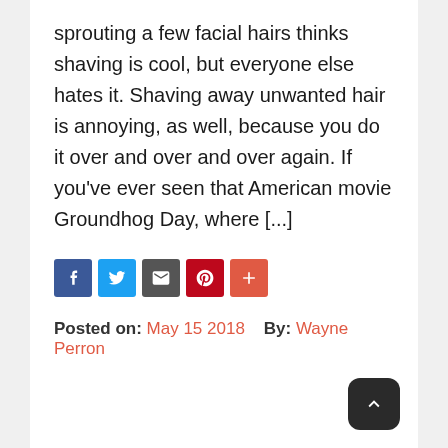sprouting a few facial hairs thinks shaving is cool, but everyone else hates it. Shaving away unwanted hair is annoying, as well, because you do it over and over and over again. If you've ever seen that American movie Groundhog Day, where [...]
[Figure (other): Social share icons: Facebook, Twitter, Digg/Email, Pinterest, Plus/More]
Posted on: May 15 2018   By: Wayne Perron